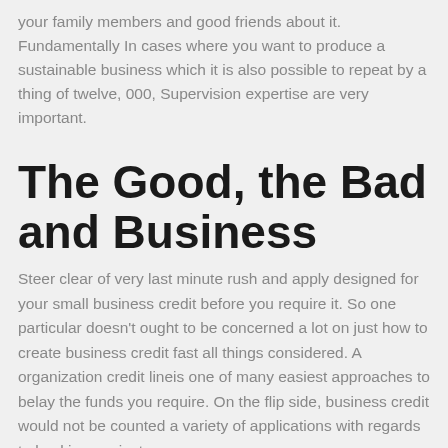your family members and good friends about it. Fundamentally In cases where you want to produce a sustainable business which it is also possible to repeat by a thing of twelve, 000, Supervision expertise are very important.
The Good, the Bad and Business
Steer clear of very last minute rush and apply designed for your small business credit before you require it. So one particular doesn't ought to be concerned a lot on just how to create business credit fast all things considered. A organization credit lineis one of many easiest approaches to belay the funds you require. On the flip side, business credit would not be counted a variety of applications with regards to backing against you,